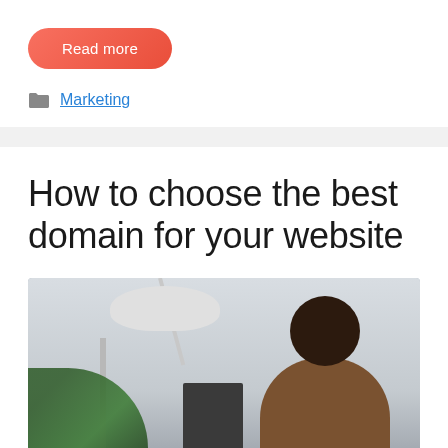Read more
Marketing
How to choose the best domain for your website
[Figure (photo): A man with glasses and a brown turtleneck sweater sitting at a desk with a floor lamp, green plant, and picture frame in a light-colored room]